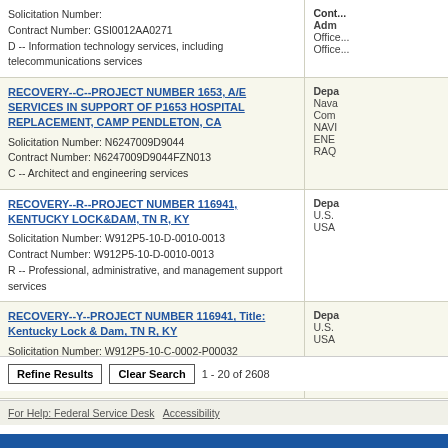| Contract Info | Agency Info |
| --- | --- |
| Solicitation Number:
Contract Number: GSI0012AA0271
D -- Information technology services, including telecommunications services | Cont...
Admn...
Office...
Office... |
| RECOVERY--C--PROJECT NUMBER 1653, A/E SERVICES IN SUPPORT OF P1653 HOSPITAL REPLACEMENT, CAMP PENDLETON, CA
Solicitation Number: N6247009D9044
Contract Number: N6247009D9044FZN013
C -- Architect and engineering services | Depa...
Naval...
Com...
NAVI...
ENE...
RAQ... |
| RECOVERY--R--PROJECT NUMBER 116941, KENTUCKY LOCK&DAM, TN R, KY
Solicitation Number: W912P5-10-D-0010-0013
Contract Number: W912P5-10-D-0010-0013
R -- Professional, administrative, and management support services | Depa...
U.S....
USA... |
| RECOVERY--Y--PROJECT NUMBER 116941, Title: Kentucky Lock & Dam, TN R, KY
Solicitation Number: W912P5-10-C-0002-P00032
Contract Number: W912P5-10-C-0002-P00032
Y -- Construction of structures and facilities | Depa...
U.S....
USA... |
Refine Results   Clear Search   1 - 20 of 2608
For Help: Federal Service Desk   Accessibility